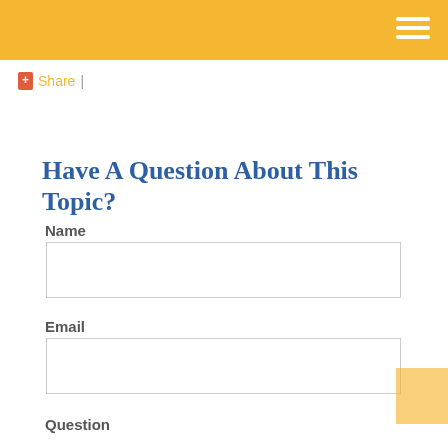+ Share |
Have A Question About This Topic?
Name
Email
Question